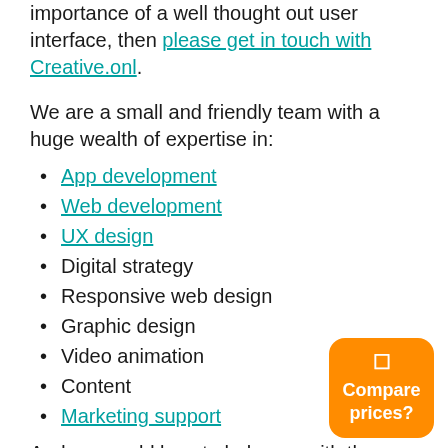importance of a well thought out user interface, then please get in touch with Creative.onl.
We are a small and friendly team with a huge wealth of expertise in:
App development
Web development
UX design
Digital strategy
Responsive web design
Graphic design
Video animation
Content
Marketing support
And we would love to help you with the